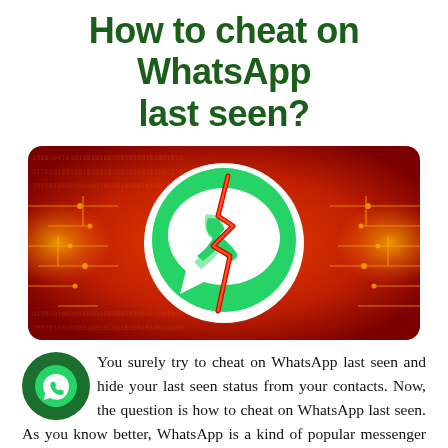How to cheat on WhatsApp last seen?
[Figure (illustration): WhatsApp logo (green circle with white phone handset speech bubble icon) cracked by a red lightning bolt, on a red digital circuit board background with binary code]
You surely try to cheat on WhatsApp last seen and hide your last seen status from your contacts. Now, the question is how to cheat on WhatsApp last seen. As you know better, WhatsApp is a kind of popular messenger for all of the people who have daily chats and conversations with their friends, co-